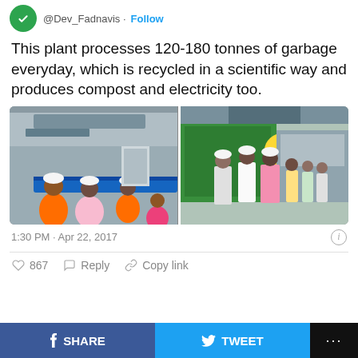@Dev_Fadnavis · Follow
This plant processes 120-180 tonnes of garbage everyday, which is recycled in a scientific way and produces compost and electricity too.
[Figure (photo): Two photos side by side: left shows workers in hard hats sorting garbage on a conveyor belt in an industrial facility; right shows officials in hard hats touring a waste processing plant with green machinery.]
1:30 PM · Apr 22, 2017
♡ 867   Reply   Copy link
f SHARE   TWEET   ...